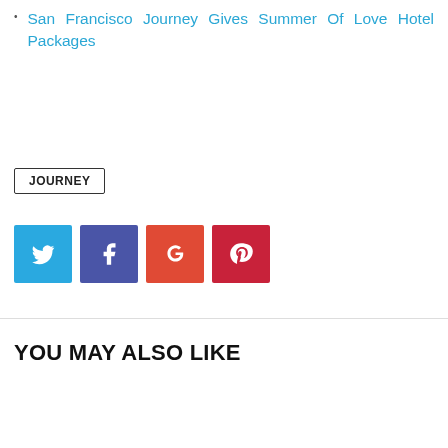San Francisco Journey Gives Summer Of Love Hotel Packages
JOURNEY
[Figure (infographic): Four social media share buttons: Twitter (blue), Facebook (dark blue/purple), Google+ (orange-red), Pinterest (dark red)]
YOU MAY ALSO LIKE